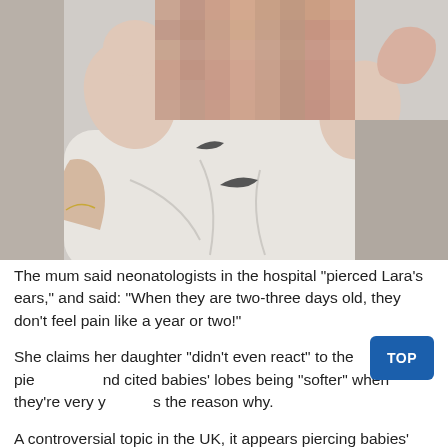[Figure (photo): Close-up photo of a newborn baby wearing a white Nike onesie. The baby's face is pixelated/blurred for privacy. An adult hand with a thin gold bracelet is visible at lower left, and another adult hand is visible at upper right. The baby appears to be lying down.]
The mum said neonatologists in the hospital "pierced Lara's ears," and said: "When they are two-three days old, they don't feel pain like a year or two!"
She claims her daughter "didn't even react" to the piercing and cited babies' lobes being "softer" when they're very young as the reason why.
A controversial topic in the UK, it appears piercing babies'